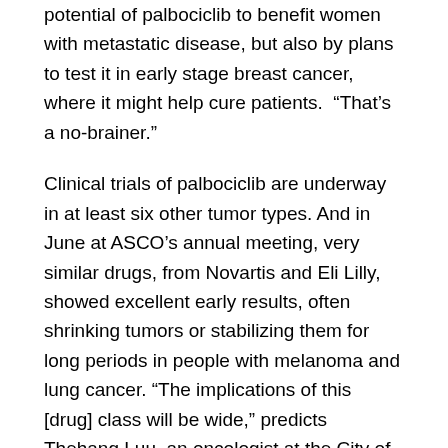potential of palbociclib to benefit women with metastatic disease, but also by plans to test it in early stage breast cancer, where it might help cure patients.  “That’s a no-brainer.”
Clinical trials of palbociclib are underway in at least six other tumor types. And in June at ASCO’s annual meeting, very similar drugs, from Novartis and Eli Lilly, showed excellent early results, often shrinking tumors or stabilizing them for long periods in people with melanoma and lung cancer. “The implications of this [drug] class will be wide,” predicts Thehang Luu, an oncologist at the City of Hope Cancer Center in Duarte, California. “We’re not even touching the surface yet.”
The special appeal of palbociclib and its competitors lies in the nature of the cell cycle. Targeted cancer therapies